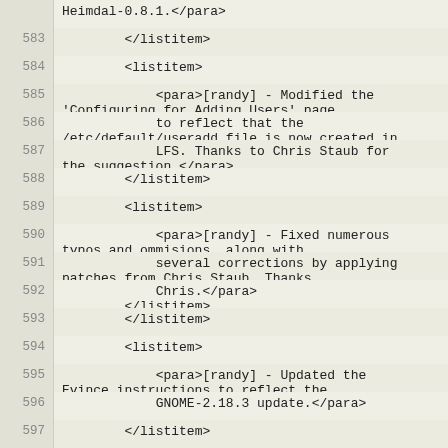Code listing lines 583-598 showing XML source for a documentation changelog
583: </listitem>
584: <listitem>
585: <para>[randy] - Modified the 'Configuring for Adding Users' page
586: to reflect that the /etc/default/useradd file is now created in
587: LFS. Thanks to Chris Staub for the suggestion.</para>
588: </listitem>
589: <listitem>
590: <para>[randy] - Fixed numerous typos and ommisions, along with
591: several corrections by applying patches from Chris Staub. Thanks,
592: Chris.</para>
593: </listitem>
594: <listitem>
595: <para>[randy] - Updated the Evince instructions to reflect the
596: GNOME-2.18.3 update.</para>
597: </listitem>
598: </itemizedlist>